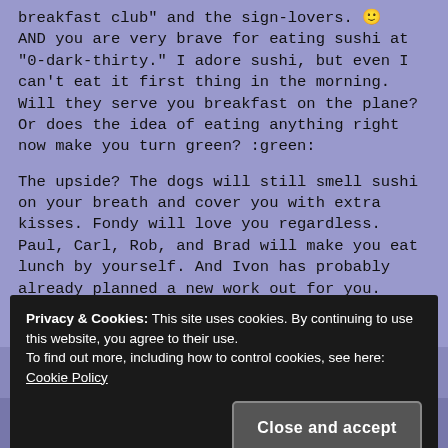breakfast club” and the sign-lovers. 😊 AND you are very brave for eating sushi at “0-dark-thirty.” I adore sushi, but even I can’t eat it first thing in the morning. Will they serve you breakfast on the plane? Or does the idea of eating anything right now make you turn green? :green:

The upside? The dogs will still smell sushi on your breath and cover you with extra kisses. Fondy will love you regardless. Paul, Carl, Rob, and Brad will make you eat lunch by yourself. And Ivon has probably already planned a new work out for you. Welcome back to Vancouver.
Privacy & Cookies: This site uses cookies. By continuing to use this website, you agree to their use. To find out more, including how to control cookies, see here: Cookie Policy
Close and accept